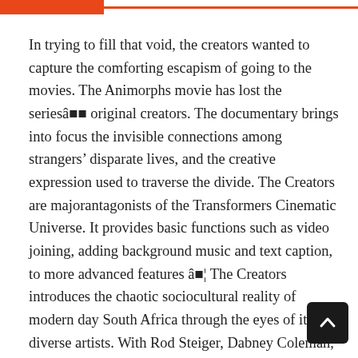In trying to fill that void, the creators wanted to capture the comforting escapism of going to the movies. The Animorphs movie has lost the seriesâ€™ original creators. The documentary brings into focus the invisible connections among strangers’ disparate lives, and the creative expression used to traverse the divide. The Creators are majorantagonists of the Transformers Cinematic Universe. It provides basic functions such as video joining, adding background music and text caption, to more advanced features â€¦ The Creators introduces the chaotic sociocultural reality of modern day South Africa through the eyes of its diverse artists. With Rod Steiger, Dabney Coleman, Robert Culp, James Dunn. Dune Creator’s Son Calls New Movie the Definitive Adaptation. Directed by Guillermo